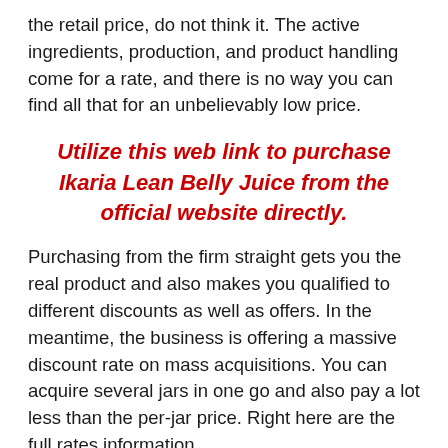the retail price, do not think it. The active ingredients, production, and product handling come for a rate, and there is no way you can find all that for an unbelievably low price.
Utilize this web link to purchase Ikaria Lean Belly Juice from the official website directly.
Purchasing from the firm straight gets you the real product and also makes you qualified to different discounts as well as offers. In the meantime, the business is offering a massive discount rate on mass acquisitions. You can acquire several jars in one go and also pay a lot less than the per-jar price. Right here are the full rates information.